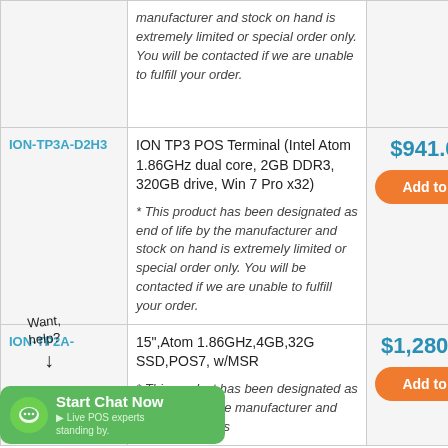| SKU | Description | Price |
| --- | --- | --- |
|  | * This product has been designated as end of life by the manufacturer and stock on hand is extremely limited or special order only. You will be contacted if we are unable to fulfill your order. |  |
| ION-TP3A-D2H3 | ION TP3 POS Terminal (Intel Atom 1.86GHz dual core, 2GB DDR3, 320GB drive, Win 7 Pro x32)
* This product has been designated as end of life by the manufacturer and stock on hand is extremely limited or special order only. You will be contacted if we are unable to fulfill your order. | $941.00 |
| ION-TP2A-... | 15",Atom 1.86GHz,4GB,32G SSD,POS7, w/MSR
* This product has been designated as end of life by the manufacturer and stock on hand is | $1,280.00 |
Want help?